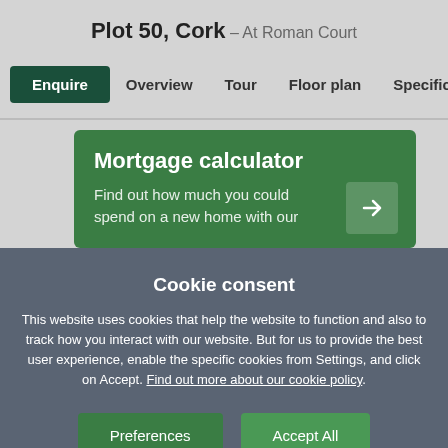Plot 50, Cork – At Roman Court
Enquire  Overview  Tour  Floor plan  Specification
Mortgage calculator
Find out how much you could spend on a new home with our
Cookie consent
This website uses cookies that help the website to function and also to track how you interact with our website. But for us to provide the best user experience, enable the specific cookies from Settings, and click on Accept. Find out more about our cookie policy.
Preferences  Accept All